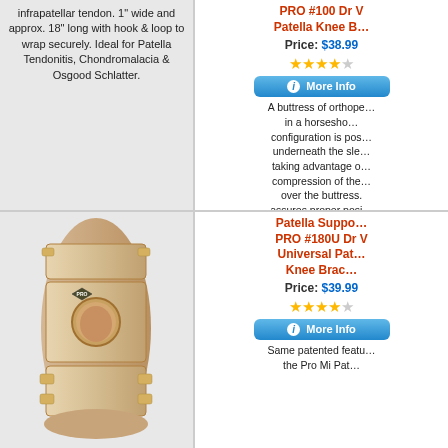infrapatellar tendon. 1" wide and approx. 18" long with hook & loop to wrap securely. Ideal for Patella Tendonitis, Chondromalacia & Osgood Schlatter.
PRO #100 Dr V Patella Knee B...
Price: $38.99
[Figure (other): 4.5 star rating]
[Figure (other): More Info button]
A buttress of orthope... in a horseshoe configuration is pos... underneath the sle... taking advantage of compression of the... over the buttress... assures proper posi... and control of pa... movement.
[Figure (photo): Knee brace product photo showing a tan/beige knee support with patella opening on a person's knee]
Patella Suppo... PRO #180U Dr V Universal Pat... Knee Brac...
Price: $39.99
[Figure (other): 4 star rating]
[Figure (other): More Info button]
Same patented featu... the Pro Mi Pat...